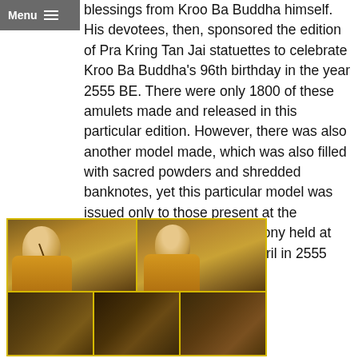Menu
blessings from Kroo Ba Buddha himself. His devotees, then, sponsored the edition of Pra Kring Tan Jai statuettes to celebrate Kroo Ba Buddha's 96th birthday in the year 2555 BE. There were only 1800 of these amulets made and released in this particular edition. However, there was also another model made, which was also filled with sacred powders and shredded banknotes, yet this particular model was issued only to those present at the Puttapisek consecration cemony held at Wat Nong Bua Kam on 13 April in 2555 BE.
[Figure (photo): Two rows of photos showing Buddhist monks in orange robes performing religious ceremonies. Top row has two photos side by side: left shows an elderly monk holding a stick, right shows a monk with hands clasped in prayer. Bottom row shows three smaller photos with dark backgrounds.]